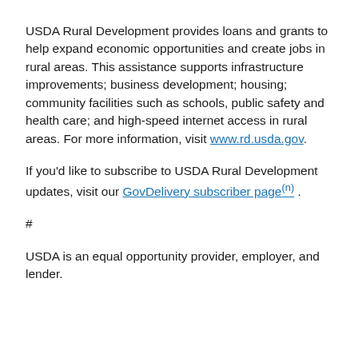USDA Rural Development provides loans and grants to help expand economic opportunities and create jobs in rural areas. This assistance supports infrastructure improvements; business development; housing; community facilities such as schools, public safety and health care; and high-speed internet access in rural areas. For more information, visit www.rd.usda.gov.
If you'd like to subscribe to USDA Rural Development updates, visit our GovDelivery subscriber page .
#
USDA is an equal opportunity provider, employer, and lender.